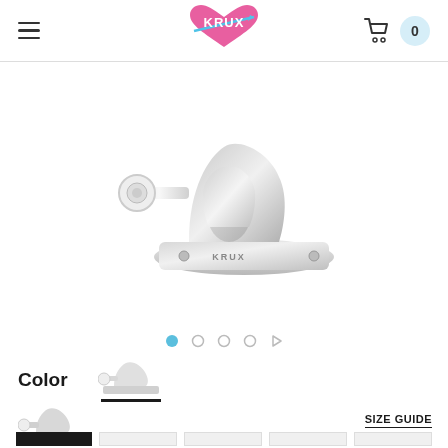KRUX skateboard trucks product page header with hamburger menu, KRUX logo, and cart showing 0 items
[Figure (photo): Silver/chrome Krux skateboard truck shown from a 3/4 angle on white background]
[Figure (infographic): Carousel navigation dots: one filled blue circle and three empty circles plus a right arrow]
Color
[Figure (photo): Thumbnail of silver Krux skateboard truck with black underline indicating selected color]
[Figure (photo): Small silver Krux skateboard truck image below color selector]
SIZE GUIDE
[Figure (other): Row of size selection boxes: one black filled box and four light/empty boxes]